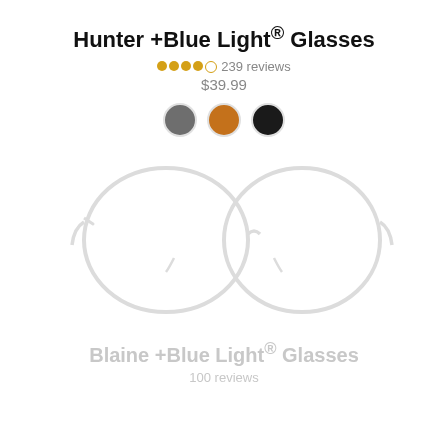Hunter +Blue Light® Glasses
239 reviews
$39.99
[Figure (illustration): Three color swatches: gray, orange/brown, and black circles with thin border]
[Figure (illustration): Faint/light gray outline illustration of round eyeglasses frames (two round lenses connected, with temple arms), shown front-facing]
Blaine +Blue Light® Glasses
100 reviews